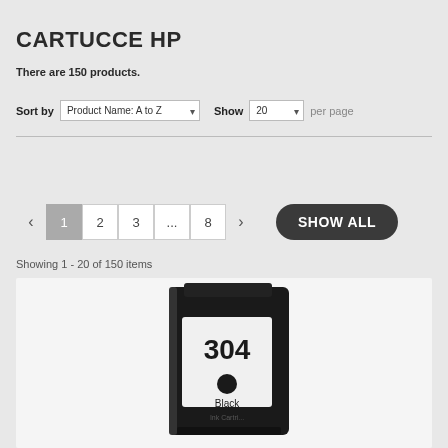CARTUCCE HP
There are 150 products.
Sort by  Product Name: A to Z  Show  20  per page
COMPARE ( 0 )
1  2  3  ...  8  SHOW ALL
Showing 1 - 20 of 150 items
[Figure (photo): HP 304 Black ink cartridge product photo]